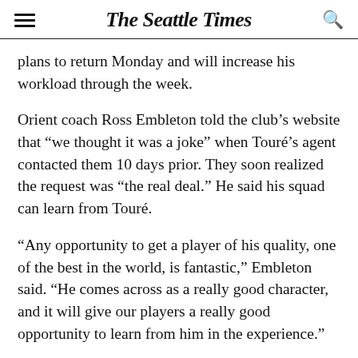The Seattle Times
plans to return Monday and will increase his workload through the week.
Orient coach Ross Embleton told the club’s website that “we thought it was a joke” when Touré’s agent contacted them 10 days prior. They soon realized the request was “the real deal.” He said his squad can learn from Touré.
“Any opportunity to get a player of his quality, one of the best in the world, is fantastic,” Embleton said. “He comes across as a really good character, and it will give our players a really good opportunity to learn from him in the experience.”